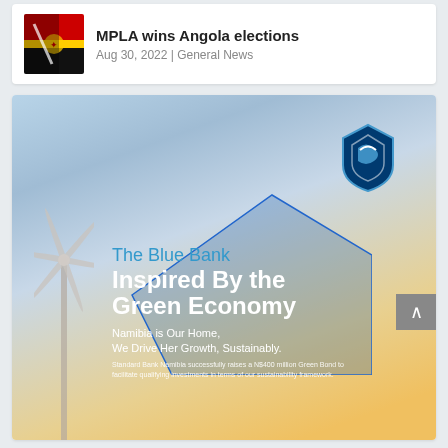[Figure (photo): News thumbnail showing Angola flag with hand and pen]
MPLA wins Angola elections
Aug 30, 2022 | General News
[Figure (photo): Standard Bank advertisement showing a wind turbine against a sky background with the Standard Bank shield logo. Text reads: The Blue Bank Inspired By the Green Economy. Namibia is Our Home, We Drive Her Growth, Sustainably. Standard Bank Namibia successfully raises a N$400 million Green Bond to facilitate qualifying investments in terms of our sustainability framework.]